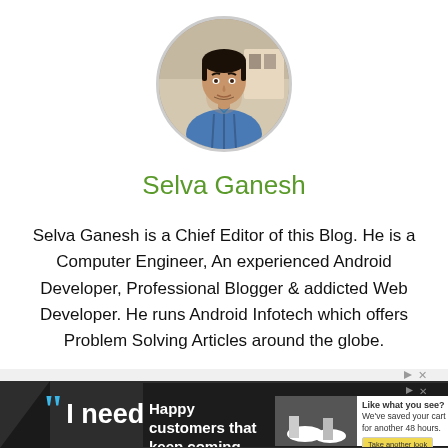[Figure (photo): Circular avatar photo of Selva Ganesh, a man in a blue shirt]
Selva Ganesh
Selva Ganesh is a Chief Editor of this Blog. He is a Computer Engineer, An experienced Android Developer, Professional Blogger & addicted Web Developer. He runs Android Infotech which offers Problem Solving Articles around the globe.
[Figure (screenshot): Advertisement banner with dark background showing quote 'I need to streamline' with secondary ad overlay showing 'Happy customers that keep coming back' and a product image popup]
Happy customers that keep coming back